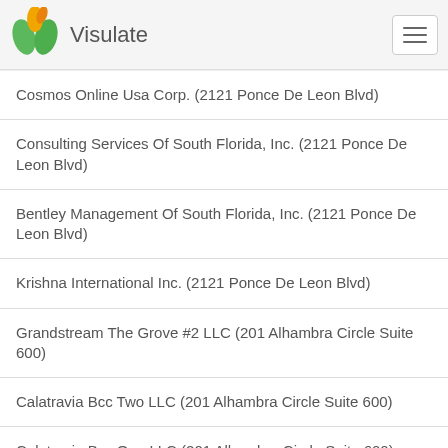Visulate
Cosmos Online Usa Corp. (2121 Ponce De Leon Blvd)
Consulting Services Of South Florida, Inc. (2121 Ponce De Leon Blvd)
Bentley Management Of South Florida, Inc. (2121 Ponce De Leon Blvd)
Krishna International Inc. (2121 Ponce De Leon Blvd)
Grandstream The Grove #2 LLC (201 Alhambra Circle Suite 600)
Calatravia Bcc Two LLC (201 Alhambra Circle Suite 600)
Calatravia Bcc One LLC (201 Alhambra Circle Suite 600)
Skrld, Inc. (201 Alhambra Cir #1100)
Reina Holdings Rentals, Inc. (201 Alhambra Cir)